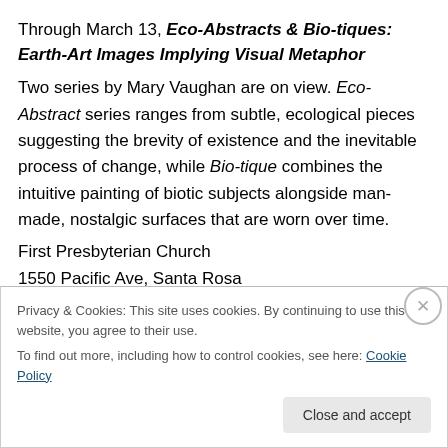Through March 13, Eco-Abstracts & Bio-tiques: Earth-Art Images Implying Visual Metaphor Two series by Mary Vaughan are on view. Eco-Abstract series ranges from subtle, ecological pieces suggesting the brevity of existence and the inevitable process of change, while Bio-tique combines the intuitive painting of biotic subjects alongside man-made, nostalgic surfaces that are worn over time.
First Presbyterian Church
1550 Pacific Ave, Santa Rosa
707-542-0205
Privacy & Cookies: This site uses cookies. By continuing to use this website, you agree to their use. To find out more, including how to control cookies, see here: Cookie Policy